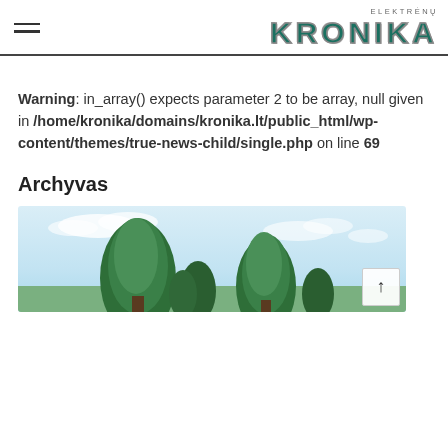ELEKTRĖNŲ KRONIKA
Warning: in_array() expects parameter 2 to be array, null given in /home/kronika/domains/kronika.lt/public_html/wp-content/themes/true-news-child/single.php on line 69
Archyvas
[Figure (photo): Outdoor photo showing green coniferous trees against a light blue cloudy sky]